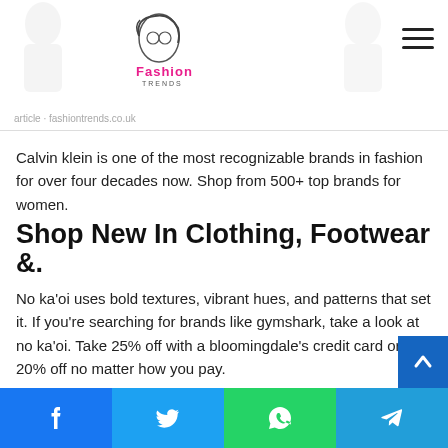Fashion Trends logo and navigation
Calvin klein is one of the most recognizable brands in fashion for over four decades now. Shop from 500+ top brands for women.
Shop New In Clothing, Footwear &.
No ka'oi uses bold textures, vibrant hues, and patterns that set it. If you're searching for brands like gymshark, take a look at no ka'oi. Take 25% off with a bloomingdale's credit card or 20% off no matter how you pay.
This European Store Has All The Trendy Pieces You See On